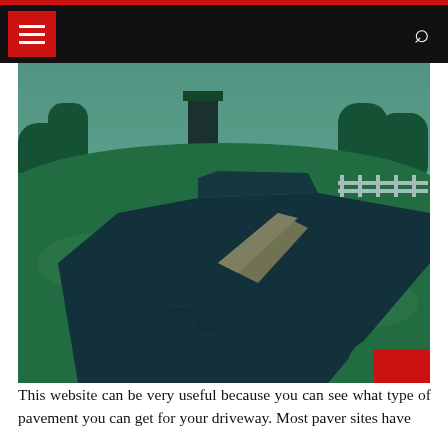[Figure (photo): A curved asphalt driveway surrounded by green grass and trees, photographed with a teal/cyan tint filter. The driveway curves through a landscaped property with a white fence visible in the background.]
This website can be very useful because you can see what type of pavement you can get for your driveway. Most paver sites have